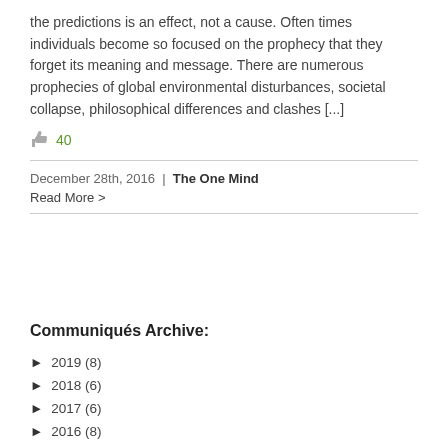the predictions is an effect, not a cause. Often times individuals become so focused on the prophecy that they forget its meaning and message. There are numerous prophecies of global environmental disturbances, societal collapse, philosophical differences and clashes [...]
👍 40
December 28th, 2016 | The One Mind
Read More >
Communiqués Archive:
► 2019 (8)
► 2018 (6)
► 2017 (6)
► 2016 (8)
► 2015 (18)